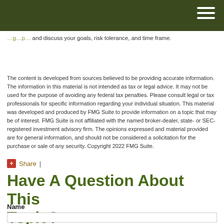and discuss your goals, risk tolerance, and time frame.
The content is developed from sources believed to be providing accurate information. The information in this material is not intended as tax or legal advice. It may not be used for the purpose of avoiding any federal tax penalties. Please consult legal or tax professionals for specific information regarding your individual situation. This material was developed and produced by FMG Suite to provide information on a topic that may be of interest. FMG Suite is not affiliated with the named broker-dealer, state- or SEC-registered investment advisory firm. The opinions expressed and material provided are for general information, and should not be considered a solicitation for the purchase or sale of any security. Copyright 2022 FMG Suite.
+ Share |
Have A Question About This Topic?
Name